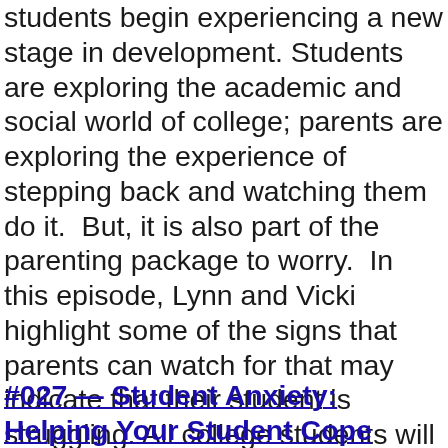students begin experiencing a new stage in development. Students are exploring the academic and social world of college; parents are exploring the experience of stepping back and watching them do it.  But, it is also part of the parenting package to worry.  In this episode, Lynn and Vicki highlight some of the signs that parents can watch for that may indicate that their student is struggling. All college students will hit a few bumps in the road, and the more parents can think about how to identify signs of trouble, how to explore situations further, and how to  decide whether or not to intervene, the better armed they will be to support their student's growth.
#027 — Student Anxiety: Helping Your Student Cope